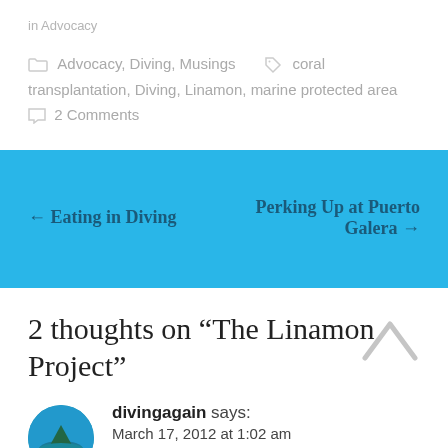in Advocacy
Advocacy, Diving, Musings   coral transplantation, Diving, Linamon, marine protected area   2 Comments
← Eating in Diving
Perking Up at Puerto Galera →
2 thoughts on “The Linamon Project”
divingagain says:
March 17, 2012 at 1:02 am